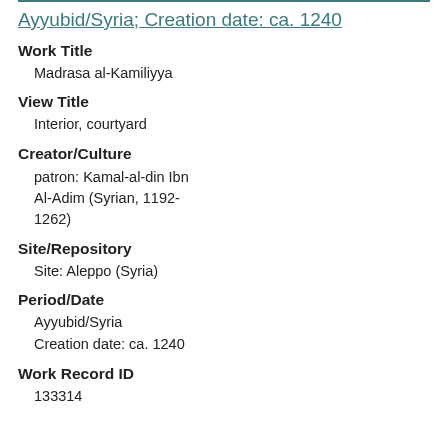Ayyubid/Syria; Creation date: ca. 1240
Work Title
Madrasa al-Kamiliyya
View Title
Interior, courtyard
Creator/Culture
patron: Kamal-al-din Ibn Al-Adim (Syrian, 1192-1262)
Site/Repository
Site: Aleppo (Syria)
Period/Date
Ayyubid/Syria
Creation date: ca. 1240
Work Record ID
133314